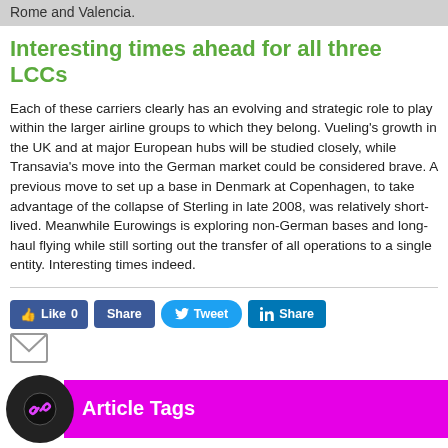Rome and Valencia.
Interesting times ahead for all three LCCs
Each of these carriers clearly has an evolving and strategic role to play within the larger airline groups to which they belong. Vueling's growth in the UK and at major European hubs will be studied closely, while Transavia's move into the German market could be considered brave. A previous move to set up a base in Denmark at Copenhagen, to take advantage of the collapse of Sterling in late 2008, was relatively short-lived. Meanwhile Eurowings is exploring non-German bases and long-haul flying while still sorting out the transfer of all operations to a single entity. Interesting times indeed.
[Figure (infographic): Social sharing buttons: Facebook Like 0, Facebook Share, Twitter Tweet, LinkedIn Share, Email icon]
[Figure (infographic): Article Tags section with circular logo icon and magenta banner label reading 'Article Tags']
Aer Lingus
Air France
AMS
BCN